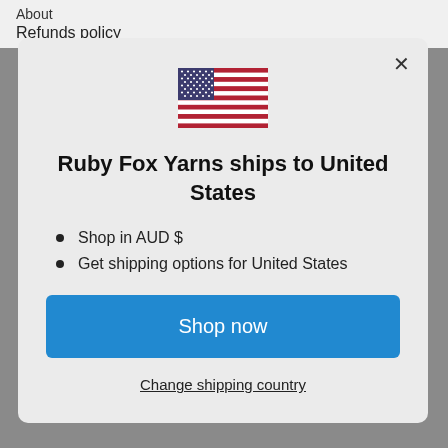About
Refunds policy
[Figure (illustration): US flag emoji/icon displayed at center of modal]
Ruby Fox Yarns ships to United States
Shop in AUD $
Get shipping options for United States
Shop now
Change shipping country